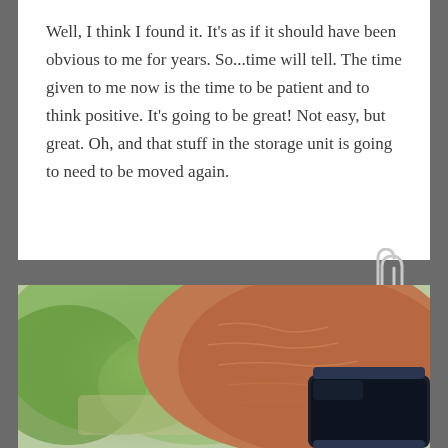Well, I think I found it. It's as if it should have been obvious to me for years. So...time will tell. The time given to me now is the time to be patient and to think positive. It's going to be great! Not easy, but great. Oh, and that stuff in the storage unit is going to need to be moved again.
[Figure (photo): Close-up photo of an elderly person's wrist wearing a smartwatch (appears dark/off screen), with blurred green outdoor background visible on the left side. A paperclip graphic is overlaid on the right side of the image area.]